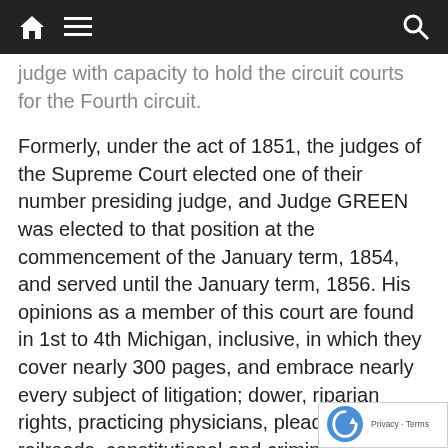[navigation bar with home, menu, and search icons]
judge with capacity to hold the circuit courts for the Fourth circuit.
Formerly, under the act of 1851, the judges of the Supreme Court elected one of their number presiding judge, and Judge GREEN was elected to that position at the commencement of the January term, 1854, and served until the January term, 1856. His opinions as a member of this court are found in 1st to 4th Michigan, inclusive, in which they cover nearly 300 pages, and embrace nearly every subject of litigation; dower, riparian rights, practicing physicians, pleading, railroads, constitutional and criminal law. The most notable ones are those in People v. John Doe, on challenge to the array; People v. Michigan South Railroad Co., on private property for public use; Wetherwax v. Paine, on commercial paper, –still a